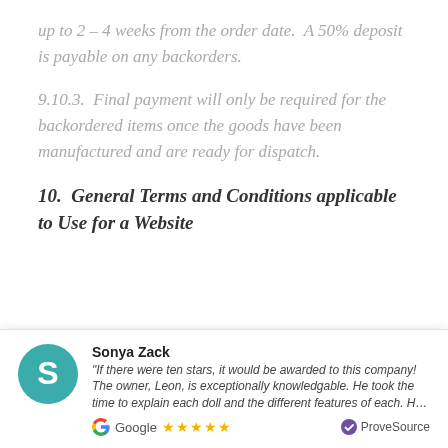up to 2 – 4 weeks from the order date.  A 50% deposit is payable on any backorders.
9.10.3.  Final payment will only be required for the backordered items once the goods have been manufactured and are ready for dispatch.
10.  General Terms and Conditions applicable to Use for a Website
[Figure (other): Customer review widget from ProveSource showing a Google review by Sonya Zack with 5 stars: 'If there were ten stars, it would be awarded to this company! The owner, Leon, is exceptionally knowledgable. He took the time to explain each doll and the different features of each. H...']